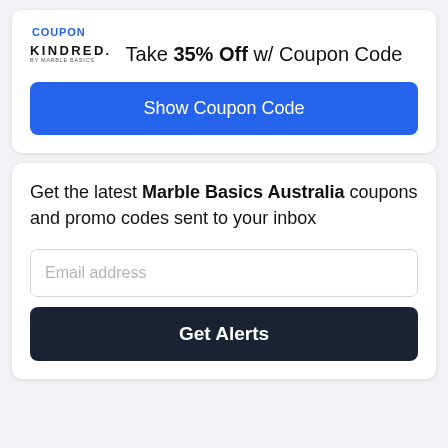COUPON
Take 35% Off w/ Coupon Code
[Figure (logo): Kindred by Marble Basics logo]
Show Coupon Code
Get the latest Marble Basics Australia coupons and promo codes sent to your inbox
Email address
Get Alerts